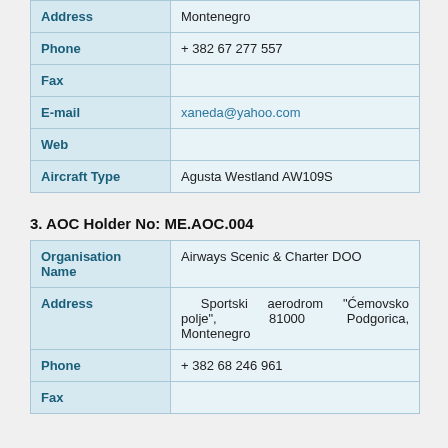| Field | Value |
| --- | --- |
| Address | Montenegro |
| Phone | + 382 67 277 557 |
| Fax |  |
| E-mail | xaneda@yahoo.com |
| Web |  |
| Aircraft Type | Agusta Westland AW109S |
3. AOC Holder No: ME.AOC.004
| Field | Value |
| --- | --- |
| Organisation Name | Airways Scenic & Charter DOO |
| Address | Sportski aerodrom "Ćemovsko polje", 81000 Podgorica, Montenegro |
| Phone | + 382 68 246 961 |
| Fax |  |